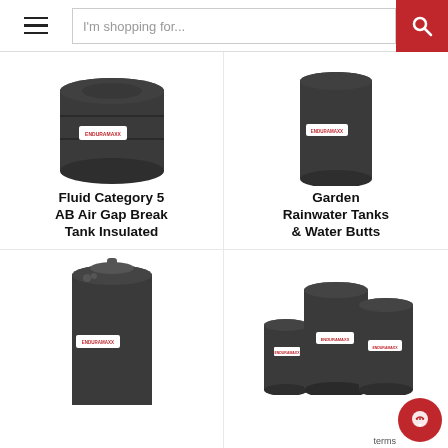I'm shopping for...
[Figure (photo): Dark grey plastic insulated tank with Enduramaxx label, short and wide cylindrical shape, partially cropped at top]
Fluid Category 5 AB Air Gap Break Tank Insulated
[Figure (photo): Dark grey tall cylindrical plastic tank with Enduramaxx label, vertical narrow form, partially cropped at top]
Garden Rainwater Tanks & Water Butts
[Figure (photo): Dark grey tall narrow cylindrical plastic tank with Enduramaxx label and fittings at top, partially cropped at bottom]
[Figure (photo): Three dark grey plastic tanks of varying sizes grouped together with Enduramaxx labels, partially cropped at bottom]